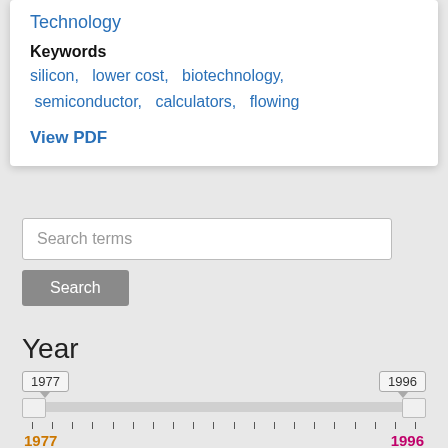Technology
Keywords
silicon,   lower cost,   biotechnology,  semiconductor,   calculators,   flowing
View PDF
Search terms
Search
Year
1977 ... 1996 (slider range)